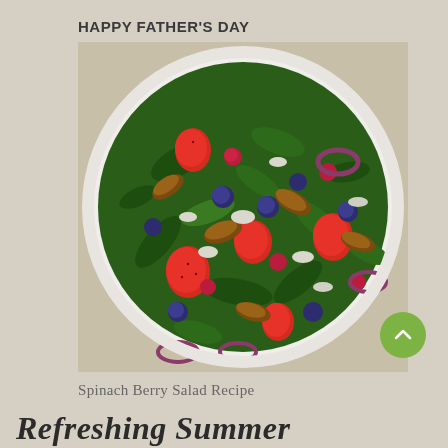HAPPY FATHER'S DAY
[Figure (photo): A white plate filled with a colorful spinach berry salad containing strawberries, blueberries, raspberries, candied pecans, blue cheese crumbles, and red onion rings on a bed of fresh spinach leaves.]
Spinach Berry Salad Recipe
Refreshing Summer